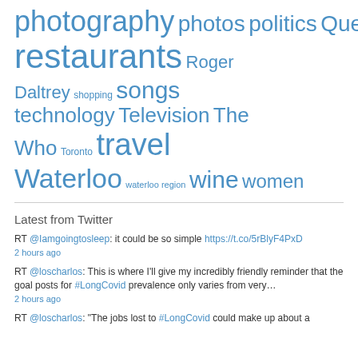[Figure (infographic): Tag cloud with various topics in different font sizes, all in blue: photography (very large), photos (large), politics (large), Queen (large), recipes (medium), restaurants (very large), Roger Daltrey (medium), shopping (small), songs (large), technology (large), Television (large), The Who (large), Toronto (small), travel (very large), Waterloo (large), waterloo region (small), wine (large), women (large)]
Latest from Twitter
RT @Iamgoingtosleep: it could be so simple https://t.co/5rBlyF4PxD
2 hours ago
RT @loscharlos: This is where I'll give my incredibly friendly reminder that the goal posts for #LongCovid prevalence only varies from very…
2 hours ago
RT @loscharlos: "The jobs lost to #LongCovid could make up about a